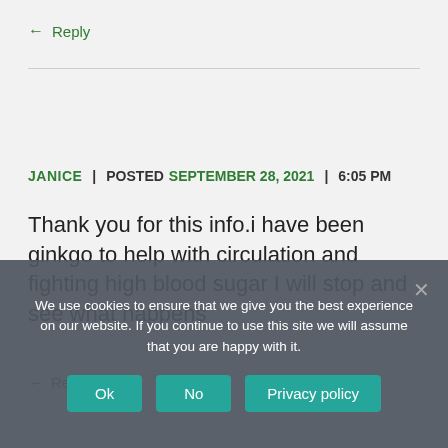← Reply
JANICE | POSTED SEPTEMBER 28, 2021 | 6:05 PM
Thank you for this info.i have been ginkgo to help with circulation and fighting high blood sugar I will stop and see what happens
← Reply
We use cookies to ensure that we give you the best experience on our website. If you continue to use this site we will assume that you are happy with it.